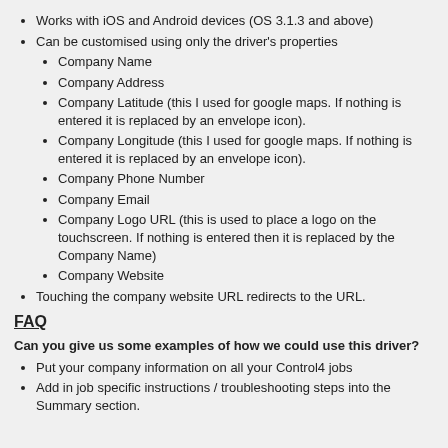Works with iOS and Android devices (OS 3.1.3 and above)
Can be customised using only the driver's properties
Company Name
Company Address
Company Latitude (this I used for google maps. If nothing is entered it is replaced by an envelope icon).
Company Longitude (this I used for google maps. If nothing is entered it is replaced by an envelope icon).
Company Phone Number
Company Email
Company Logo URL (this is used to place a logo on the touchscreen. If nothing is entered then it is replaced by the Company Name)
Company Website
Touching the company website URL redirects to the URL.
FAQ
Can you give us some examples of how we could use this driver?
Put your company information on all your Control4 jobs
Add in job specific instructions / troubleshooting steps into the Summary section.